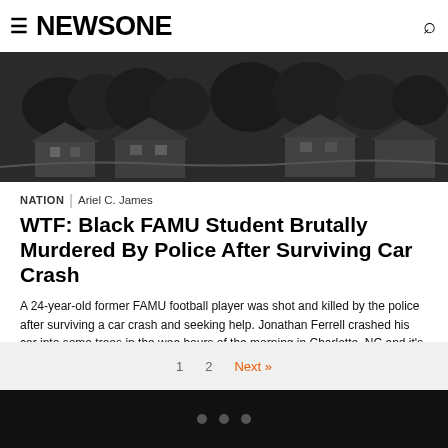NEWSONE
[Figure (photo): Aerial black and white photograph of suburban houses and trees]
NATION | Ariel C. James
WTF: Black FAMU Student Brutally Murdered By Police After Surviving Car Crash
A 24-year-old former FAMU football player was shot and killed by the police after surviving a car crash and seeking help. Jonathan Ferrell crashed his car into some trees in the wee hours of the morning in Charlotte, NC and it's being reported that his car was totaled and in order to get out, he would have had to […]
1  2  Next »